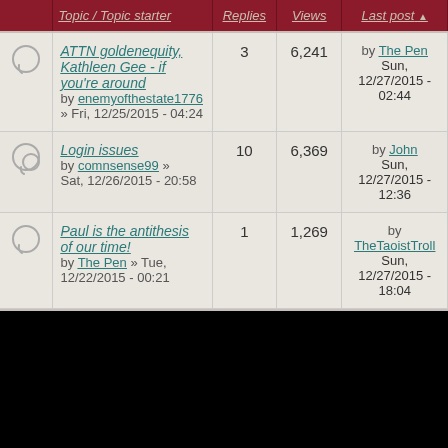|  | Topic / Topic starter | Replies | Views | Last post |
| --- | --- | --- | --- | --- |
| [icon] | ATTN goldenequity, Kathleen Gee - if you're around
by enemyofthestate1776
» Fri, 12/25/2015 - 04:24 | 3 | 6,241 | by The Pen
Sun, 12/27/2015 - 02:44 |
| [icon] | Login issues
by comnsense99 » Sat, 12/26/2015 - 20:58 | 10 | 6,369 | by John
Sun, 12/27/2015 - 12:36 |
| [icon] | Paul is the antithesis of our time!
by The Pen » Tue, 12/22/2015 - 00:21 | 1 | 1,269 | by TheTaoistTroll
Sun, 12/27/2015 - 18:04 |